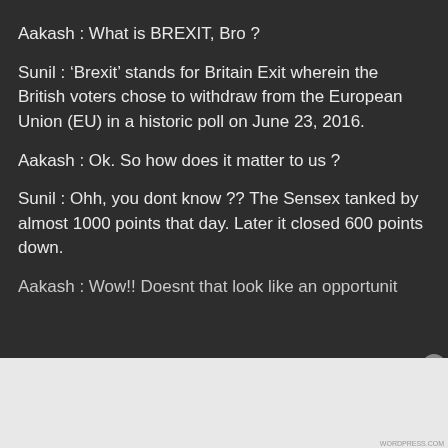Aakash : What is BREXIT, Bro ?
Sunil : ‘Brexit’ stands for Britain Exit wherein the British voters chose to withdraw from the European Union (EU) in a historic poll on June 23, 2016.
Aakash : Ok. So how does it matter to us ?
Sunil : Ohh, you dont know ?? The Sensex tanked by almost 1000 points that day. Later it closed 600 points down.
Aakash : Wow!! Doesnt that look like an opportunit…